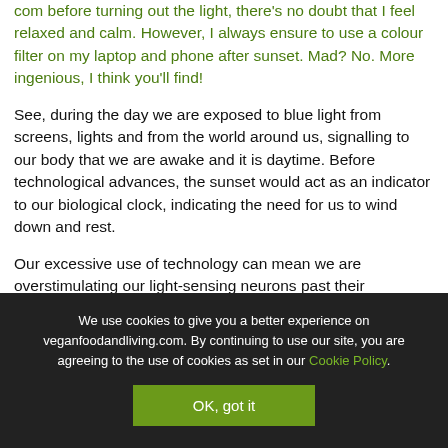com before turning out the light, there's no doubt that I feel relaxed and calm. However, I always ensure to use a colour filter on my laptop and phone after sunset. Mad? No. More ingenious, I think you'll find!
See, during the day we are exposed to blue light from screens, lights and from the world around us, signalling to our body that we are awake and it is daytime. Before technological advances, the sunset would act as an indicator to our biological clock, indicating the need for us to wind down and rest.
Our excessive use of technology can mean we are overstimulating our light-sensing neurons past their
We use cookies to give you a better experience on veganfoodandliving.com. By continuing to use our site, you are agreeing to the use of cookies as set in our Cookie Policy.
OK, got it